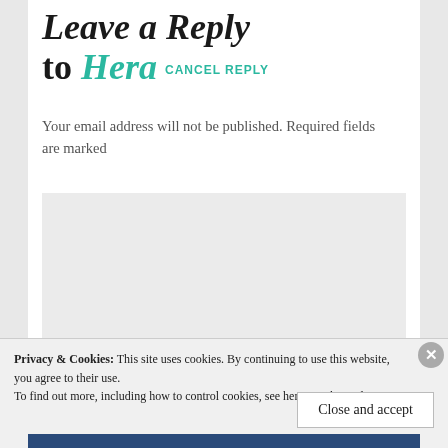Leave a Reply to Hera CANCEL REPLY
Your email address will not be published. Required fields are marked
[Figure (other): Empty comment textarea input box with light gray background]
Privacy & Cookies: This site uses cookies. By continuing to use this website, you agree to their use.
To find out more, including how to control cookies, see here: Cookie Policy
Close and accept